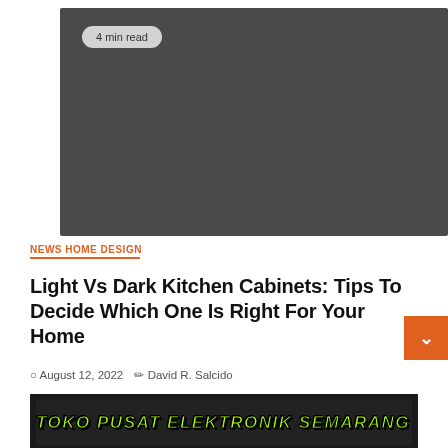[Figure (photo): Dark grey/charcoal placeholder image for article about kitchen cabinets with a '4 min read' badge overlay in top left]
NEWS HOME DESIGN
Light Vs Dark Kitchen Cabinets: Tips To Decide Which One Is Right For Your Home
August 12, 2022   David R. Salcido
[Figure (photo): Second article thumbnail showing 'TOKO PUSAT ELEKTRONIK SEMARANG' text over dark background with speaker images, with '3 min read' badge overlay]